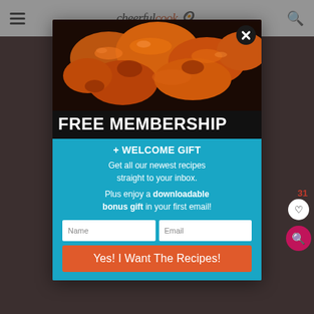[Figure (screenshot): Website header with hamburger menu, 'cheerfulcook' logo, and search icon on white background]
[Figure (photo): Close-up photo of glazed/sauced chicken wings or similar food with orange-brown sauce]
FREE MEMBERSHIP
+ WELCOME GIFT
Get all our newest recipes straight to your inbox.
Plus enjoy a downloadable bonus gift in your first email!
Name
Email
Yes! I Want The Recipes!